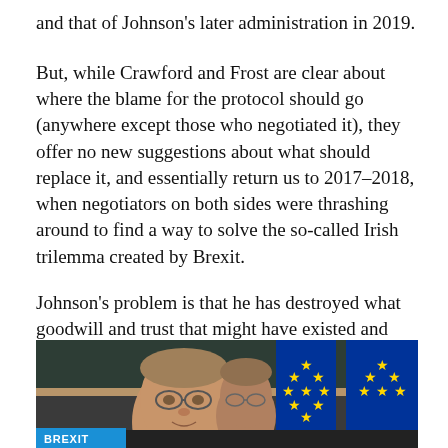and that of Johnson's later administration in 2019.
But, while Crawford and Frost are clear about where the blame for the protocol should go (anywhere except those who negotiated it), they offer no new suggestions about what should replace it, and essentially return us to 2017–2018, when negotiators on both sides were thrashing around to find a way to solve the so-called Irish trilemma created by Brexit.
Johnson's problem is that he has destroyed what goodwill and trust that might have existed and has now set us on a collision course with our former closest friends and allies.
[Figure (photo): Photo of a man in glasses speaking, with EU flags (blue with yellow stars) visible in the background, in what appears to be a parliamentary or official setting. A 'BREXIT' label badge is overlaid in the bottom-left corner.]